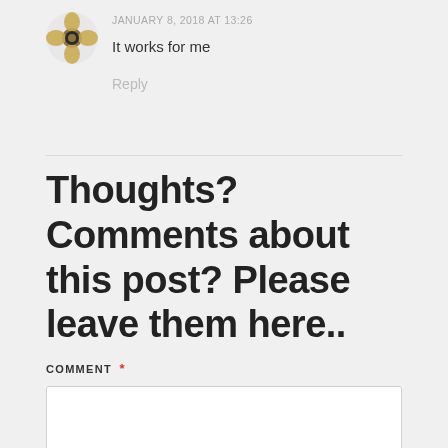[Figure (logo): Decorative avatar icon with flower/cross pattern in gold and black]
JANUARY 8, 2018 AT 13:26
It works for me
Reply
Thoughts? Comments about this post? Please leave them here..
COMMENT *
[Figure (other): Empty comment text area input box]